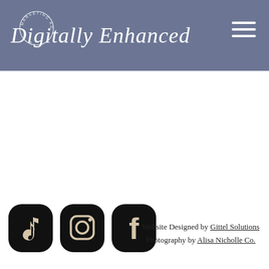Digitally Enhanced — Marketing Agency
[Figure (logo): Digitally Enhanced marketing agency logo with circular badge text and cursive script on slate-blue header background, with hamburger menu icon on right]
[Figure (illustration): Three social media icon pills (TikTok, Instagram, Facebook) in black rounded rectangle shapes with white icons]
Website Designed by Gittel Solutions Photography by Alisa Nicholle Co.